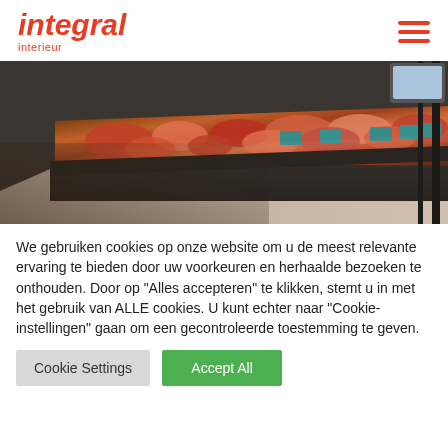integral interieur
[Figure (photo): Interior retail meat display counter with various cuts of meat and price tags displayed behind glass, viewed from an angle.]
We gebruiken cookies op onze website om u de meest relevante ervaring te bieden door uw voorkeuren en herhaalde bezoeken te onthouden. Door op "Alles accepteren" te klikken, stemt u in met het gebruik van ALLE cookies. U kunt echter naar "Cookie-instellingen" gaan om een gecontroleerde toestemming te geven.
Cookie Settings
Accept All